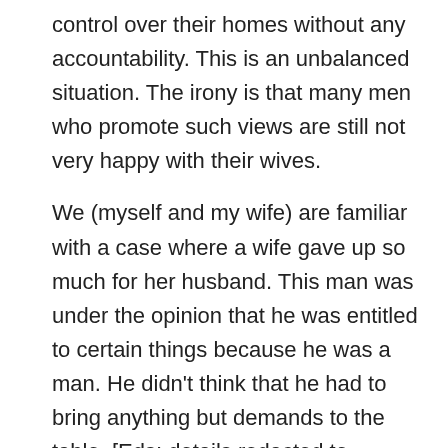control over their homes without any accountability. This is an unbalanced situation. The irony is that many men who promote such views are still not very happy with their wives.
We (myself and my wife) are familiar with a case where a wife gave up so much for her husband. This man was under the opinion that he was entitled to certain things because he was a man. He didn't think that he had to bring anything but demands to the table. [Eds: details redacted to protect the woman who was abused from being identified by the abusive man — who is now her ex].
It boils my blood when I hear religious commentators say things like, "our characters will